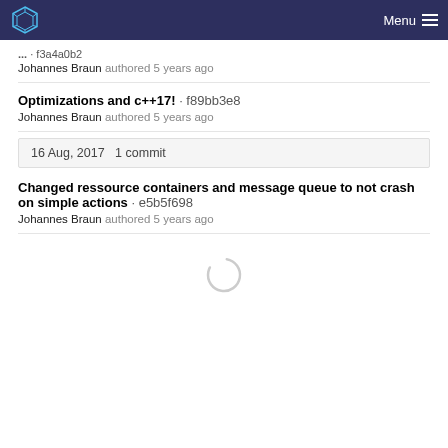Menu
... · f3a4a0b2
Johannes Braun authored 5 years ago
Optimizations and c++17! · f89bb3e8
Johannes Braun authored 5 years ago
16 Aug, 2017  1 commit
Changed ressource containers and message queue to not crash on simple actions · e5b5f698
Johannes Braun authored 5 years ago
[Figure (other): Loading spinner circle]